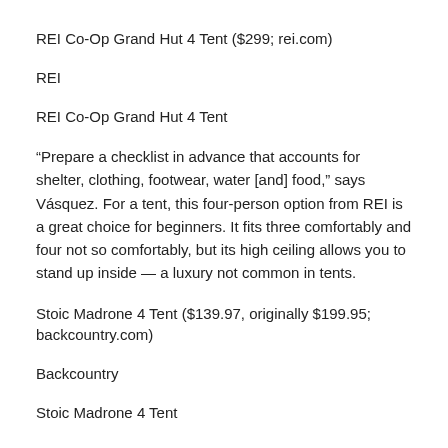REI Co-Op Grand Hut 4 Tent ($299; rei.com)
REI
REI Co-Op Grand Hut 4 Tent
“Prepare a checklist in advance that accounts for shelter, clothing, footwear, water [and] food,” says Vásquez. For a tent, this four-person option from REI is a great choice for beginners. It fits three comfortably and four not so comfortably, but its high ceiling allows you to stand up inside — a luxury not common in tents.
Stoic Madrone 4 Tent ($139.97, originally $199.95; backcountry.com)
Backcountry
Stoic Madrone 4 Tent